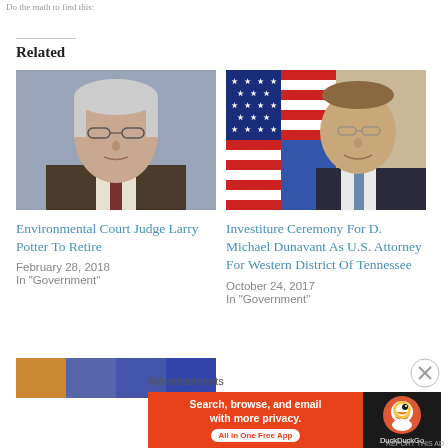Related
[Figure (photo): Headshot of Environmental Court Judge Larry Potter, an older white man with glasses and gray hair, wearing a suit, with a gray background.]
Environmental Court Judge Larry Potter To Retire
February 28, 2018
In "Government"
[Figure (photo): Headshot of D. Michael Dunavant, a middle-aged man with glasses and a suit, with an American flag in the background.]
Investiture Ceremony For D. Michael Dunavant As U.S. Attorney For Western District Of Tennessee
October 24, 2017
In "Government"
Advertisements
[Figure (screenshot): DuckDuckGo advertisement banner: 'Search, browse, and email with more privacy. All in One Free App' with DuckDuckGo logo on dark background.]